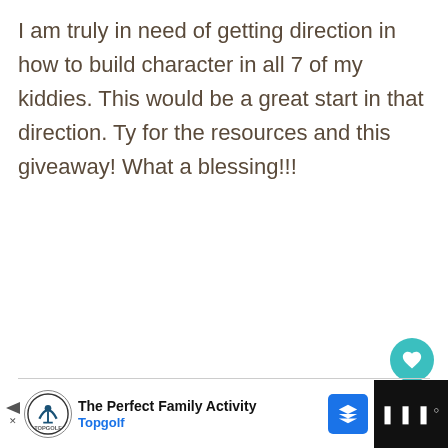I am truly in need of getting direction in how to build character in all 7 of my kiddies. This would be a great start in that direction. Ty for the resources and this giveaway! What a blessing!!!
Coyan K says: at 11:12 a.m
Thank you for this incredible giveaway!
[Figure (screenshot): Advertisement bar for Topgolf showing 'The Perfect Family Activity' with Topgolf logo and navigation arrow button]
[Figure (screenshot): What's Next overlay widget showing 'Thank You - Character...' with red cursive logo]